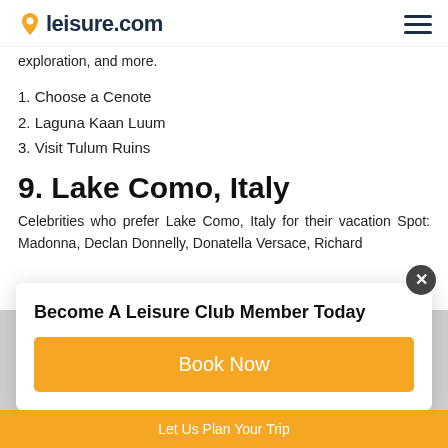leisure.com
exploration, and more.
1. Choose a Cenote
2. Laguna Kaan Luum
3. Visit Tulum Ruins
9. Lake Como, Italy
Celebrities who prefer Lake Como, Italy for their vacation Spot: Madonna, Declan Donnelly, Donatella Versace, Richard
Become A Leisure Club Member Today
Book Now
Let Us Plan Your Trip